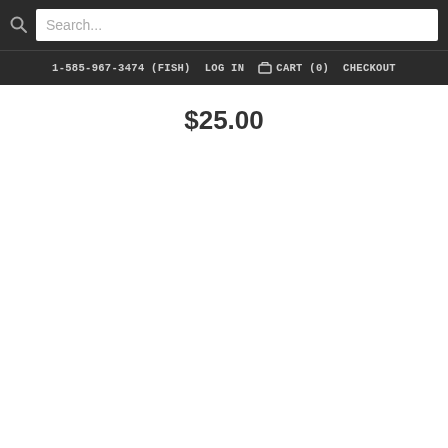Search...
1-585-967-3474 (FISH)   LOG IN   CART (0)   CHECKOUT
$25.00